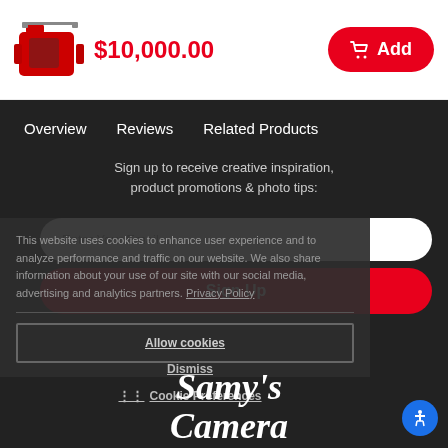[Figure (photo): Product image: red camera bag/case]
$10,000.00
Add
Overview   Reviews   Related Products
Sign up to receive creative inspiration, product promotions & photo tips:
Enter Your Email ...
Sign Up
This website uses cookies to enhance user experience and to analyze performance and traffic on our website. We also share information about your use of our site with our social media, advertising and analytics partners. Privacy Policy
Allow cookies
Dismiss
Cookie Preferences
[Figure (logo): Samy's Camera logo in white italic text]